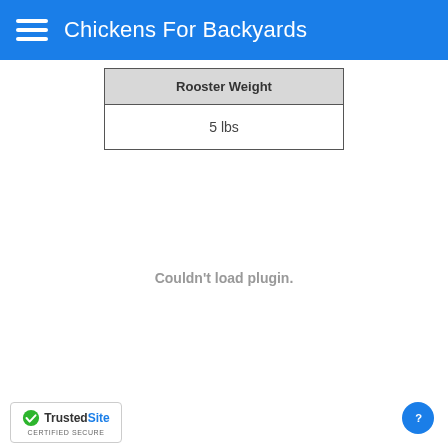Chickens For Backyards
| Rooster Weight |
| --- |
| 5 lbs |
Couldn't load plugin.
[Figure (logo): TrustedSite CERTIFIED SECURE badge with green checkmark]
[Figure (other): Blue circular help/question mark button]